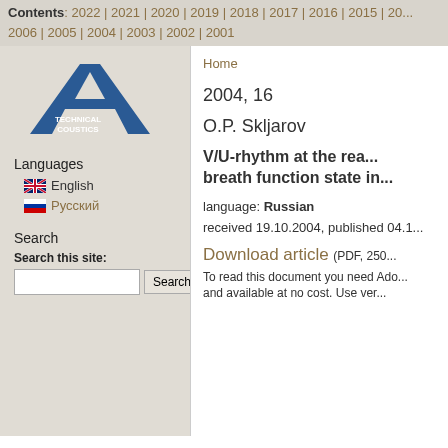Contents: 2022 | 2021 | 2020 | 2019 | 2018 | 2017 | 2016 | 2015 | 20... 2006 | 2005 | 2004 | 2003 | 2002 | 2001
[Figure (logo): Technical Acoustics journal logo with letter A and text TECHNICAL COUSTICS]
Electronic Journal Tec...
Home
Languages
English
Русский
Search
Search this site:
2004, 16
O.P. Skljarov
V/U-rhythm at the rea... breath function state in...
language: Russian
received 19.10.2004, published 04.1...
Download article (PDF, 250...
To read this document you need Ado... and available at no cost. Use ver...